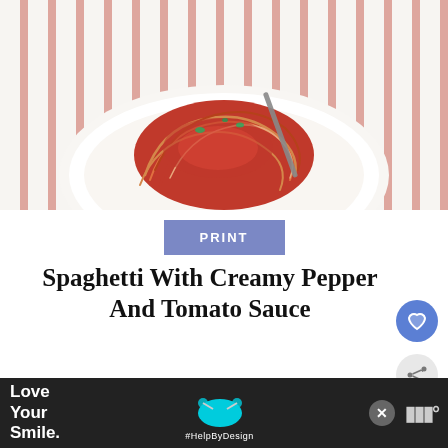[Figure (photo): Photo of spaghetti with tomato sauce on a white plate with a fork, on a red-striped tablecloth]
PRINT
Spaghetti With Creamy Pepper And Tomato Sauce
| YIELD | AUTHOR | PREP TIME |
| --- | --- | --- |
| 4 | Manuela Mazzocco |  |
WHAT'S NEXT → Rigatoni with Sausage an...
[Figure (photo): Love Your Smile advertisement banner with dental/mask imagery and #HelpByDesign hashtag]